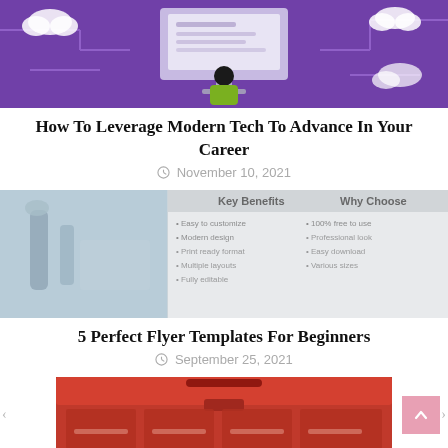[Figure (illustration): Purple technology/network illustration with a person sitting at a computer, cloud icons and connected circuit lines]
How To Leverage Modern Tech To Advance In Your Career
November 10, 2021
[Figure (illustration): Lab/medical image on the left, blurred flyer template with 'Key Benefits' and 'Why Choose' columns on the right]
5 Perfect Flyer Templates For Beginners
September 25, 2021
[Figure (photo): Partial view of a red toolbox or carrying case]